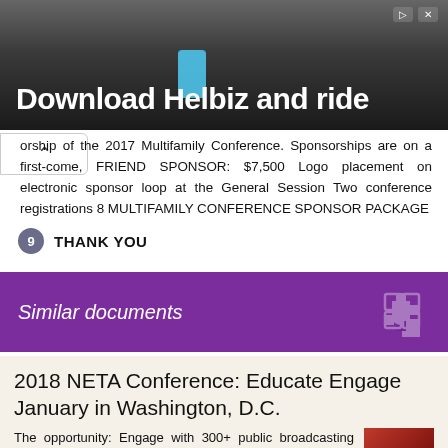[Figure (photo): Advertisement banner showing bicycle handlebars with text 'Download Helbiz and ride' on dark background]
orship of the 2017 Multifamily Conference. Sponsorships are on a first-come, FRIEND SPONSOR: $7,500 Logo placement on electronic sponsor loop at the General Session Two conference registrations 8 MULTIFAMILY CONFERENCE SPONSOR PACKAGE
9 THANK YOU
Similar documents
2018 NETA Conference: Educate Engage January in Washington, D.C.
The opportunity: Engage with 300+ public broadcasting professionals from all over the country at the 50 th NETA Conference this